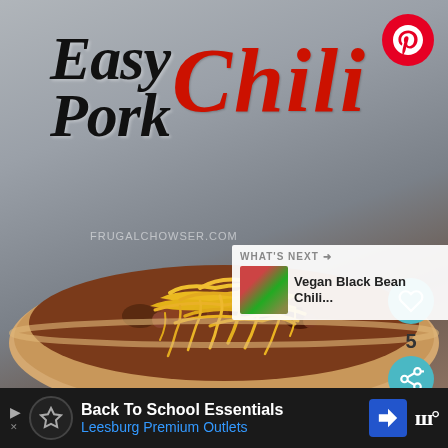[Figure (photo): Food photo of Easy Pork Chili - a bowl of chili topped with shredded cheese, with decorative hand-lettered title text overlay. Pinterest share button in top right corner. Heart/like button and share button on the right side. A 'What's Next: Vegan Black Bean Chili...' recommendation panel in lower right. Advertisement bar at bottom for 'Back To School Essentials - Leesburg Premium Outlets'.]
Easy Pork Chili
WHAT'S NEXT → Vegan Black Bean Chili...
Back To School Essentials
Leesburg Premium Outlets